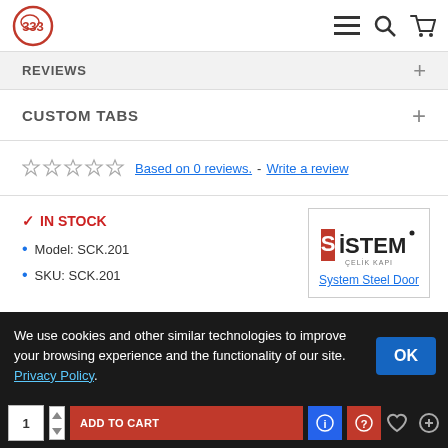333 logo with navigation icons (menu, search, cart)
REVIEWS
CUSTOM TABS
☆☆☆☆☆ Based on 0 reviews. - Write a review
✓ IN STOCK
• Model: SCK.201
• SKU: SCK.201
[Figure (logo): SISTEM Çelik Kapı brand logo with text 'System Steel Door' link below]
We use cookies and other similar technologies to improve your browsing experience and the functionality of our site. Privacy Policy.